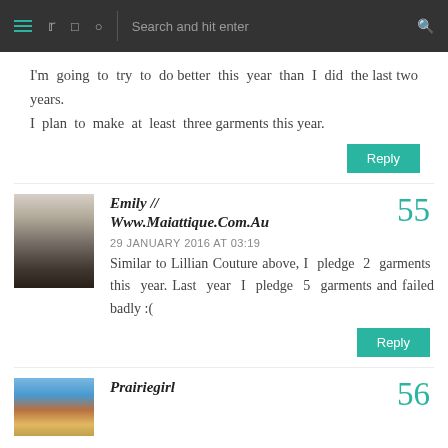Navigation bar with menu, social icons, and search
I'm going to try to do better this year than I did the last two years. I plan to make at least three garments this year.
Reply
Emily // Www.Maiattique.Com.Au
55
29 JANUARY 2016 AT 03:19
Similar to Lillian Couture above, I pledge 2 garments this year. Last year I pledge 5 garments and failed badly :(
Reply
Prairiegirl
56